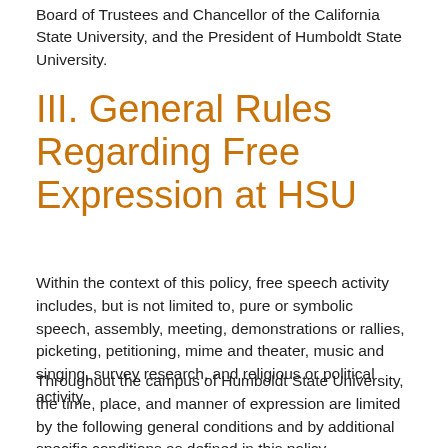Board of Trustees and Chancellor of the California State University, and the President of Humboldt State University.
III. General Rules Regarding Free Expression at HSU
Within the context of this policy, free speech activity includes, but is not limited to, pure or symbolic speech, assembly, meeting, demonstrations or rallies, picketing, petitioning, mime and theater, music and singing, survey research, and religious or political activity.
Throughout the campus of Humboldt State University, the time, place, and manner of expression are limited by the following general conditions and by additional specific conditions as defined in this policy.